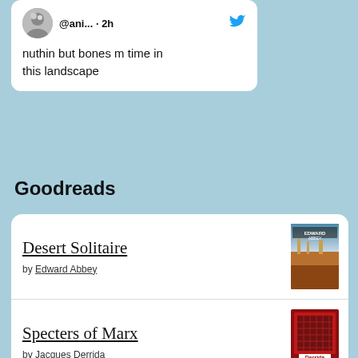[Figure (screenshot): Partial tweet card showing avatar, handle @ani..., 2h timestamp, and tweet text 'nuthin but bones m time in this landscape']
Goodreads
Desert Solitaire by Edward Abbey
Specters of Marx by Jacques Derrida
Bluets by Maggie Nelson
Twilight of the Idols by Friedrich Nietzsche